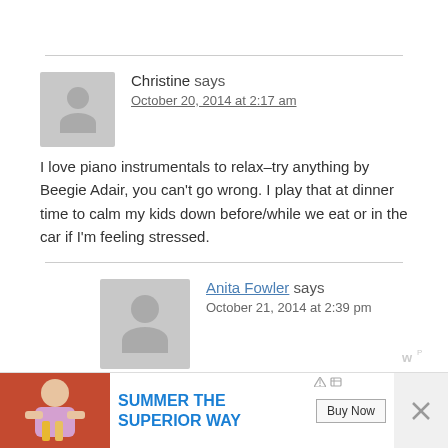Christine says
October 20, 2014 at 2:17 am
I love piano instrumentals to relax–try anything by Beegie Adair, you can't go wrong. I play that at dinner time to calm my kids down before/while we eat or in the car if I'm feeling stressed.
Anita Fowler says
October 21, 2014 at 2:39 pm
[Figure (infographic): Advertisement banner: SUMMER THE SUPERIOR WAY with Buy Now button and photo of person with drinks]